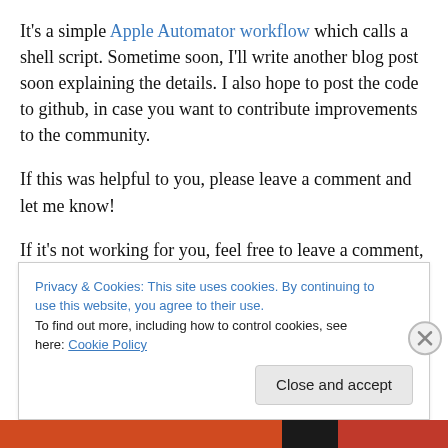It's a simple Apple Automator workflow which calls a shell script. Sometime soon, I'll write another blog post soon explaining the details. I also hope to post the code to github, in case you want to contribute improvements to the community.
If this was helpful to you, please leave a comment and let me know!
If it's not working for you, feel free to leave a comment, but I make no promises that I'll respond or be able to help –
Privacy & Cookies: This site uses cookies. By continuing to use this website, you agree to their use.
To find out more, including how to control cookies, see here: Cookie Policy